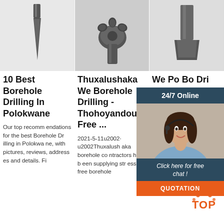[Figure (photo): Black and white photo of a narrow pointed borehole drill bit]
[Figure (photo): Black and white photo of a multi-pronged borehole drilling head/tri-cone bit]
[Figure (photo): Black and white photo of a flat chisel-type borehole drilling bit]
10 Best Borehole Drilling In Polokwane
Our top recommendations for the best Borehole Drilling in Polokwane, with pictures, reviews, addresses and details. Fi
Thuxalushaka We Borehole Drilling - Thohoyandou - Free ...
2021-5-11u2002·u2002Thuxalushaka borehole contractors have been supplying stress free borehole
We Po Bo Dri
We wan Drilling. Polokwane drilling is an very active company when it comes to water drilling
[Figure (infographic): 24/7 Online chat widget with agent photo, 'Click here for free chat!' text, and QUOTATION button]